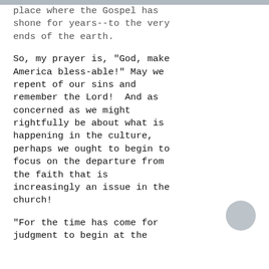place where the Gospel has shone for years--to the very ends of the earth.
So, my prayer is, "God, make America bless-able!" May we repent of our sins and remember the Lord!  And as concerned as we might rightfully be about what is happening in the culture, perhaps we ought to begin to focus on the departure from the faith that is increasingly an issue in the church!
"For the time has come for judgment to begin at the